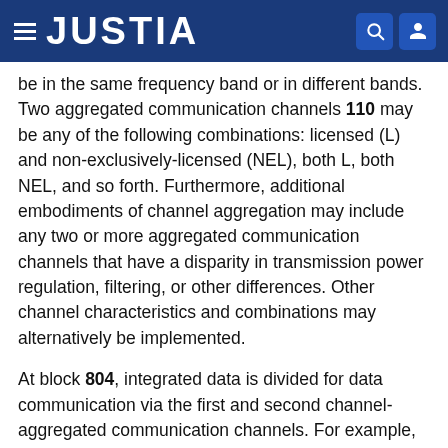JUSTIA
be in the same frequency band or in different bands. Two aggregated communication channels 110 may be any of the following combinations: licensed (L) and non-exclusively-licensed (NEL), both L, both NEL, and so forth. Furthermore, additional embodiments of channel aggregation may include any two or more aggregated communication channels that have a disparity in transmission power regulation, filtering, or other differences. Other channel characteristics and combinations may alternatively be implemented.
At block 804, integrated data is divided for data communication via the first and second channel-aggregated communication channels. For example, data for a single service 112 may be divided (as at burst construction queue 610) into first data for first communication channel 502(1) and second data for second communication channel 502(2) of FIG. 5. For